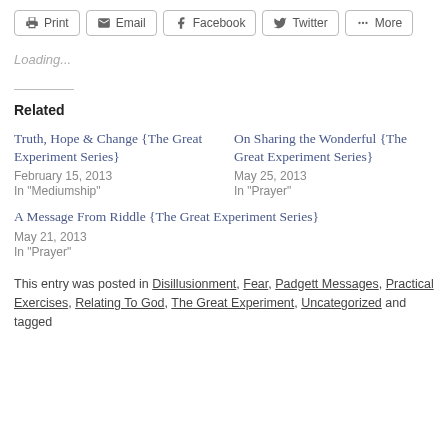[Figure (screenshot): Toolbar with share buttons: Print, Email, Facebook, Twitter, More]
Loading...
Related
Truth, Hope & Change {The Great Experiment Series}
February 15, 2013
In "Mediumship"
On Sharing the Wonderful {The Great Experiment Series}
May 25, 2013
In "Prayer"
A Message From Riddle {The Great Experiment Series}
May 21, 2013
In "Prayer"
This entry was posted in Disillusionment, Fear, Padgett Messages, Practical Exercises, Relating To God, The Great Experiment, Uncategorized and tagged